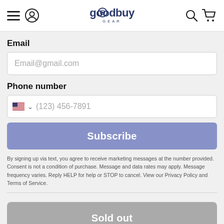goodbuy GEAR
Email
Email@gmail.com
Phone number
(123) 456-7891
Subscribe
By signing up via text, you agree to receive marketing messages at the number provided. Consent is not a condition of purchase. Message and data rates may apply. Message frequency varies. Reply HELP for help or STOP to cancel. View our Privacy Policy and Terms of Service.
Sold out